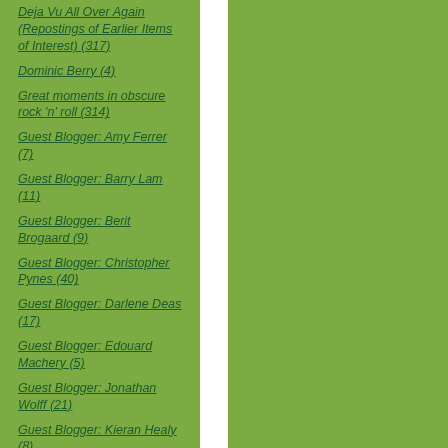Deja Vu All Over Again (Repostings of Earlier Items of Interest) (317)
Dominic Berry (4)
Great moments in obscure rock 'n' roll (314)
Guest Blogger: Amy Ferrer (7)
Guest Blogger: Barry Lam (11)
Guest Blogger: Berit Brogaard (9)
Guest Blogger: Christopher Pynes (40)
Guest Blogger: Darlene Deas (17)
Guest Blogger: Edouard Machery (5)
Guest Blogger: Jonathan Wolff (21)
Guest Blogger: Kieran Healy (8)
Guest Blogger: Peter Ludlow (12)
Guest Blogger: Richard Posner (10)
Guest Blogger: Thomas Nadelhoffer (103)
Hermeneutics of Suspicion (484)
Issues in the Profession (2126)